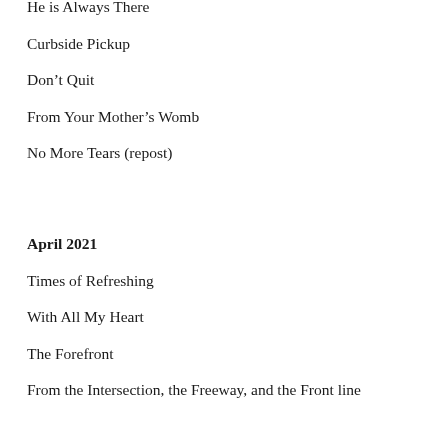He is Always There
Curbside Pickup
Don't Quit
From Your Mother's Womb
No More Tears (repost)
April 2021
Times of Refreshing
With All My Heart
The Forefront
From the Intersection, the Freeway, and the Front line